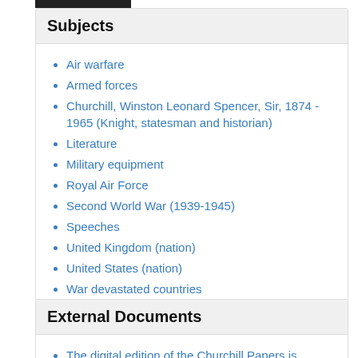Subjects
Air warfare
Armed forces
Churchill, Winston Leonard Spencer, Sir, 1874 - 1965 (Knight, statesman and historian)
Literature
Military equipment
Royal Air Force
Second World War (1939-1945)
Speeches
United Kingdom (nation)
United States (nation)
War devastated countries
Western Europe
External Documents
The digital edition of the Churchill Papers is published by Bloomsbury Academic and is